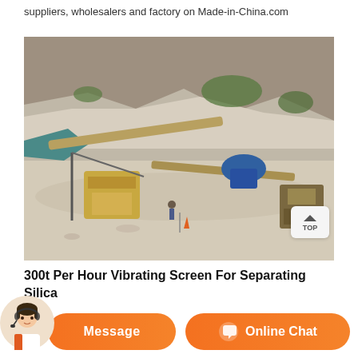suppliers, wholesalers and factory on Made-in-China.com
[Figure (photo): Aerial view of a quarry mining operation with conveyor belts, crushers, and heavy machinery set against rocky cliffs and mountainous terrain.]
300t Per Hour Vibrating Screen For Separating Silica
sand, published date 04-09-2021. Capacity 300 t per hour. Materials